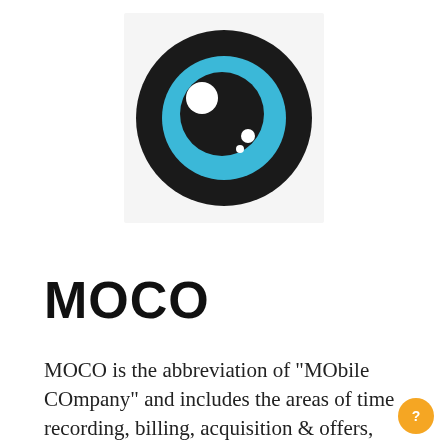[Figure (logo): MOCO eye logo: a circular eye icon with concentric rings, black outer ring, blue iris, black pupil, white highlight dots, on a white square background]
MOCO
MOCO is the abbreviation of "MObile COmpany" and includes the areas of time recording, billing, acquisition & offers, capacity planning, contact